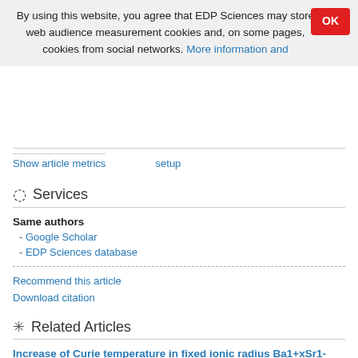By using this website, you agree that EDP Sciences may store web audience measurement cookies and, on some pages, cookies from social networks. More information and setup
Show article metrics
Services
Same authors
- Google Scholar
- EDP Sciences database
Recommend this article
Download citation
Related Articles
Increase of Curie temperature in fixed ionic radius Ba1+xSr1-3xLa2xFeMoO6 double perovskites
Eur. Phys. J. B 39, 35-40 (2004)